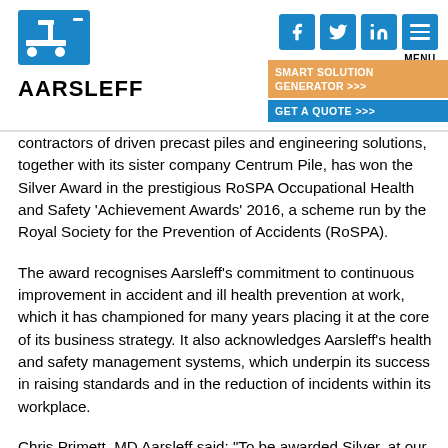AARSLEFF
contractors of driven precast piles and engineering solutions, together with its sister company Centrum Pile, has won the Silver Award in the prestigious RoSPA Occupational Health and Safety ‘Achievement Awards’ 2016, a scheme run by the Royal Society for the Prevention of Accidents (RoSPA).
The award recognises Aarsleff’s commitment to continuous improvement in accident and ill health prevention at work, which it has championed for many years placing it at the core of its business strategy. It also acknowledges Aarsleff’s health and safety management systems, which underpin its success in raising standards and in the reduction of incidents within its workplace.
Chris Primett, MD Aarsleff said: “To be awarded Silver, at our first attempt, in what are the UK’s most prestigious health